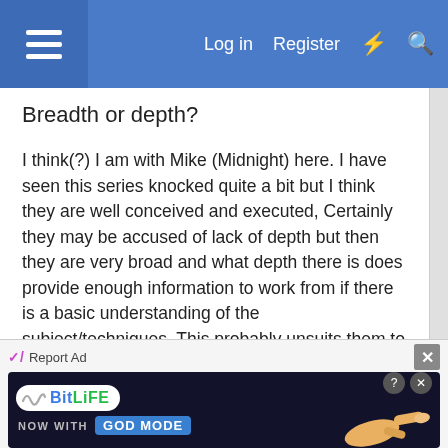≡  Log in  Register  ⚡  🔍
Breadth or depth?
I think(?) I am with Mike (Midnight) here. I have seen this series knocked quite a bit but I think they are well conceived and executed, Certainly they may be accused of lack of depth but then they are very broad and what depth there is does provide enough information to work from if there is a basic understanding of the subject/techniques. This probably unsuits them to be a beginner's first texts but they make good references thereafter.
There are other books that deal exclusively with joints like Terri Knoll's and Jackson and Day's Good Wood
[Figure (screenshot): Advertisement banner for BitLife game: 'NOW WITH GOD MODE' on dark background with hand pointing graphic]